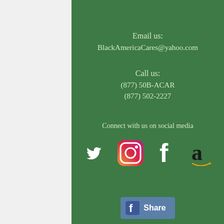Email us:
BlackAmericaCares@yahoo.com
Call us:
(877) 50B-ACAR
(877) 502-2227
Connect with us on social media
[Figure (illustration): Social media icons: Twitter (bird, white), Instagram (camera gradient), Facebook (f, white), Amazon (a with arrow, dark)]
[Figure (illustration): Facebook Share button with f icon and Share text on blue-gray background]